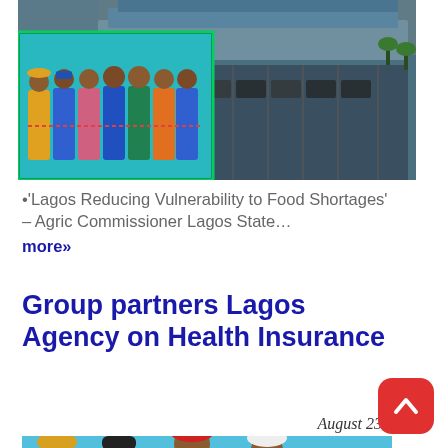[Figure (photo): Two overlapping photos: aerial/architectural view of a building with parking area, and a group of people in colorful traditional Nigerian attire at a ribbon-cutting or event.]
•'Lagos Reducing Vulnerability to Food Shortages' – Agric Commissioner Lagos State… more»
Group partners Lagos Agency on Health Insurance
August 23, 2022
The
[Figure (photo): Four people (two men and two women) in traditional Nigerian attire posing together in front of a light blue wall.]